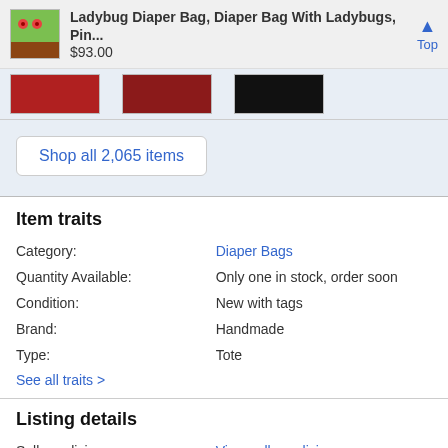Ladybug Diaper Bag, Diaper Bag With Ladybugs, Pin... $93.00
[Figure (photo): Product thumbnail images strip showing diaper bags]
Shop all 2,065 items
Item traits
| Trait | Value |
| --- | --- |
| Category: | Diaper Bags |
| Quantity Available: | Only one in stock, order soon |
| Condition: | New with tags |
| Brand: | Handmade |
| Type: | Tote |
See all traits >
Listing details
| Trait | Value |
| --- | --- |
| Seller policies: | View seller policies |
| Posted for sale: | More than a week ago |
| Item number: | 466665675 |